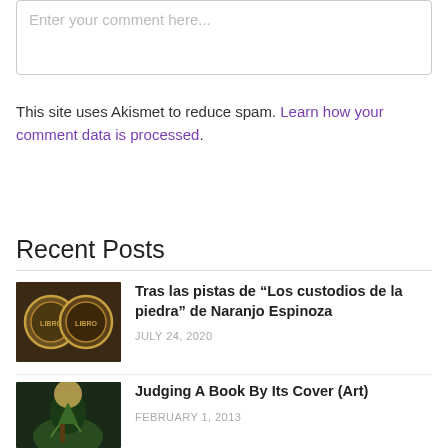Enter your comment here...
This site uses Akismet to reduce spam. Learn how your comment data is processed.
Recent Posts
[Figure (photo): Thumbnail image of book covers with circular medallion designs in dark gold and brown tones]
Tras las pistas de “Los custodios de la piedra” de Naranjo Espinoza
JULY 24, 2020
[Figure (photo): Thumbnail image showing a dark fantasy illustration of a figure on horseback under a moonlit sky]
Judging A Book By Its Cover (Art)
FEBRUARY 1, 2013